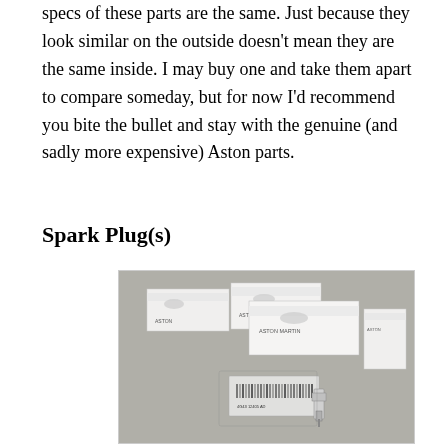specs of these parts are the same. Just because they look similar on the outside doesn't mean they are the same inside. I may buy one and take them apart to compare someday, but for now I'd recommend you bite the bullet and stay with the genuine (and sadly more expensive) Aston parts.
Spark Plug(s)
[Figure (photo): Multiple white Aston Martin branded spark plug boxes arranged on a grey surface, with a spark plug visible in front of them in a plastic bag.]